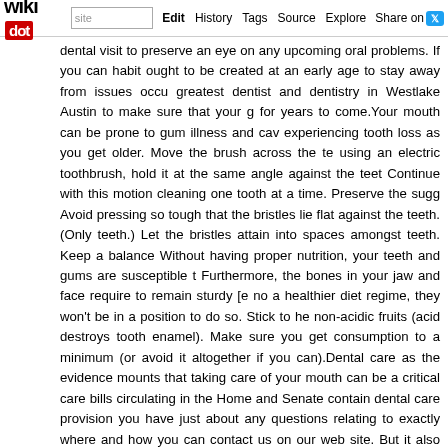wikidot | site | Edit | History | Tags | Source | Explore | Share on [twitter]
dental visit to preserve an eye on any upcoming oral problems. If you can habit ought to be created at an early age to stay away from issues occu greatest dentist and dentistry in Westlake Austin to make sure that your g for years to come.Your mouth can be prone to gum illness and cav experiencing tooth loss as you get older. Move the brush across the te using an electric toothbrush, hold it at the same angle against the teet Continue with this motion cleaning one tooth at a time. Preserve the sugg Avoid pressing so tough that the bristles lie flat against the teeth. (Only teeth.) Let the bristles attain into spaces amongst teeth. Keep a balance Without having proper nutrition, your teeth and gums are susceptible t Furthermore, the bones in your jaw and face require to remain sturdy [e no a healthier diet regime, they won't be in a position to do so. Stick to he non-acidic fruits (acid destroys tooth enamel). Make sure you get consumption to a minimum (or avoid it altogether if you can).Dental care as the evidence mounts that taking care of your mouth can be a critical care bills circulating in the Home and Senate contain dental care provision you have just about any questions relating to exactly where and how you can contact us on our web site. But it also signifies that for most of us re quickly.A gel containing hyaluronic acid, a natural substance located in applied to gums, it stimulates the production of healthful new tissue. In t scientists found it can increase tissue healing by up to a half, enhance ideal way to take care of your heart and brain in midlife is to stick to consuming habits, get moving, don't be sedentary, give your mind connections and private relationships.At-property tooth bleaching kits are agent such as carbamide peroxide to modify the organic color of your te meals-related stains. These kits can be a hassle to use, adding time to y the strongest over-the-counter solution available for whitening teeth an your cat's teeth, you can take other actions to guarantee that she keeps gels, along with especially formulated dental treats and food can slow th